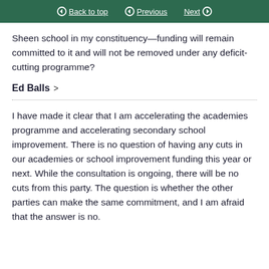Back to top   Previous   Next
Sheen school in my constituency—funding will remain committed to it and will not be removed under any deficit-cutting programme?
Ed Balls >
I have made it clear that I am accelerating the academies programme and accelerating secondary school improvement. There is no question of having any cuts in our academies or school improvement funding this year or next. While the consultation is ongoing, there will be no cuts from this party. The question is whether the other parties can make the same commitment, and I am afraid that the answer is no.